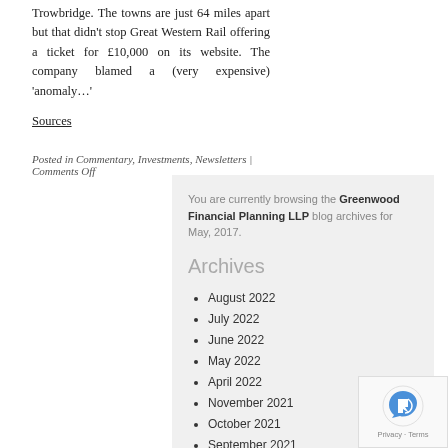Trowbridge. The towns are just 64 miles apart but that didn't stop Great Western Rail offering a ticket for £10,000 on its website. The company blamed a (very expensive) 'anomaly...'
Sources
Posted in Commentary, Investments, Newsletters | Comments Off
You are currently browsing the Greenwood Financial Planning LLP blog archives for May, 2017.
Archives
August 2022
July 2022
June 2022
May 2022
April 2022
November 2021
October 2021
September 2021
August 2021
July 2021